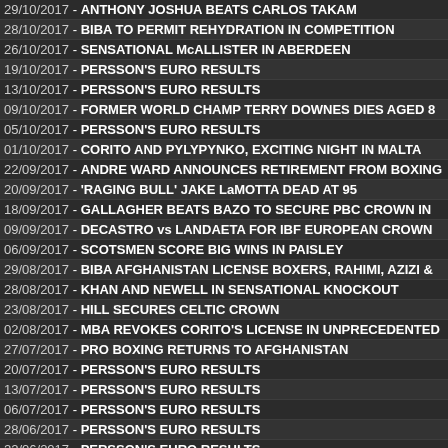29/10/2017 - ANTHONY JOSHUA BEATS CARLOS TAKAM
28/10/2017 - BIBA TO PERMIT REHYDRATION IN COMPETITION
26/10/2017 - SENSATIONAL McALLISTER IN ABERDEEN
19/10/2017 - PERSSON'S EURO RESULTS
13/10/2017 - PERSSON'S EURO RESULTS
09/10/2017 - FORMER WORLD CHAMP TERRY DOWNES DIES AGED 8
05/10/2017 - PERSSON'S EURO RESULTS
01/10/2017 - CORITO AND PYLYPYNKO, EXCITING NIGHT IN MALTA
22/09/2017 - ANDRE WARD ANNOUNCES RETIREMENT FROM BOXING
20/09/2017 - 'RAGING BULL' JAKE LaMOTTA DEAD AT 95
18/09/2017 - GALLAGHER BEATS BAZO TO SECURE PBC CROWN IN
09/09/2017 - DECASTRO vs LANDAETA FOR IBF EUROPEAN CROWN
06/09/2017 - SCOTSMEN SCORE BIG WINS IN PAISLEY
29/08/2017 - BIBA AFGHANISTAN LICENSE BOXERS, RAHIMI, AZIZI &
28/08/2017 - KHAN AND NEWELL IN SENSATIONAL KNOCKOUT
23/08/2017 - HILL SECURES CELTIC CROWN
02/08/2017 - MBA REVOKES CORITO'S LICENSE IN UNPRECEDENTED
27/07/2017 - PRO BOXING RETURNS TO AFGHANISTAN
20/07/2017 - PERSSON'S EURO RESULTS
13/07/2017 - PERSSON'S EURO RESULTS
06/07/2017 - PERSSON'S EURO RESULTS
28/06/2017 - PERSSON'S EURO RESULTS
22/06/2017 - PERSSON'S EURO RESULTS
14/06/2017 - PERSSON'S EURO RESULTS
12/06/2017 - FORMER ENGLISH BOXER ERROL CHRISTIE DIES AGE 5
11/06/2017 - BURNETT UPSETS HASKINS TO WIN IBF BANTAM BELT